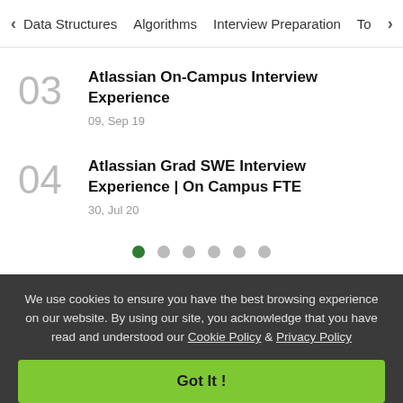< Data Structures   Algorithms   Interview Preparation   To>
03 Atlassian On-Campus Interview Experience
09, Sep 19
04 Atlassian Grad SWE Interview Experience | On Campus FTE
30, Jul 20
[Figure (other): Pagination dots: 6 dots, first dot filled green, rest grey]
We use cookies to ensure you have the best browsing experience on our website. By using our site, you acknowledge that you have read and understood our Cookie Policy & Privacy Policy
Got It !